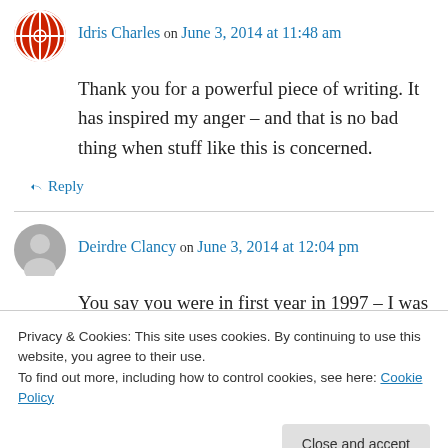[Figure (illustration): Red circular avatar with globe/grid pattern for user Idris Charles]
Idris Charles on June 3, 2014 at 11:48 am
Thank you for a powerful piece of writing. It has inspired my anger – and that is no bad thing when stuff like this is concerned.
↪ Reply
[Figure (illustration): Grey circular silhouette avatar for user Deirdre Clancy]
Deirdre Clancy on June 3, 2014 at 12:04 pm
You say you were in first year in 1997 – I was well into my twenties then with a feminist
Privacy & Cookies: This site uses cookies. By continuing to use this website, you agree to their use.
To find out more, including how to control cookies, see here: Cookie Policy
Close and accept
misogyny that is unfortunately still part of our